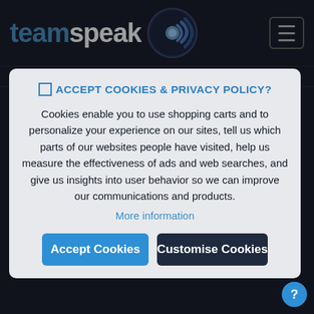[Figure (logo): TeamSpeak logo with icon of faces/speech bubbles in a circular emblem]
Email: sales@teamspeak.com
☐ ACCEPT COOKIES & PRIVACY POLICY?
Cookies enable you to use shopping carts and to personalize your experience on our sites, tell us which parts of our websites people have visited, help us measure the effectiveness of ads and web searches, and give us insights into user behavior so we can improve our communications and products.
More information
Accept Cookies
Customise Cookies